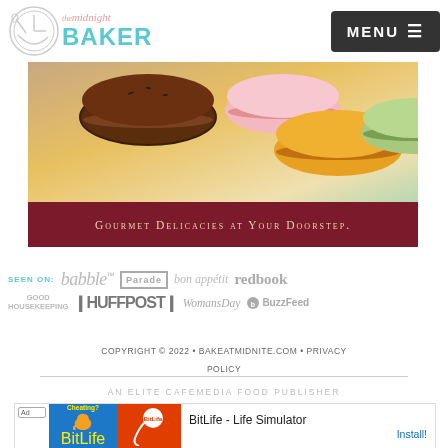The Midnight Baker | MENU
[Figure (photo): Advertisement banner showing colorful French macarons (chocolate, pink, yellow, green) with text 'GOURMET DELICACIES AT YOUR DOORSTEP.' on dark red background]
[Figure (logo): Seen on: babble, Parade, bon appétit, redbook, Good Housekeeping, HUFFPOST, Woman's Day, BuzzFeed]
COPYRIGHT © 2022 • BAKEATMIDNITE.COM • PRIVACY POLICY
AN ELITE CAFEMEDIA FOOD PUBLISHER
[Figure (screenshot): Ad: BitLife - Life Simulator with Install button]